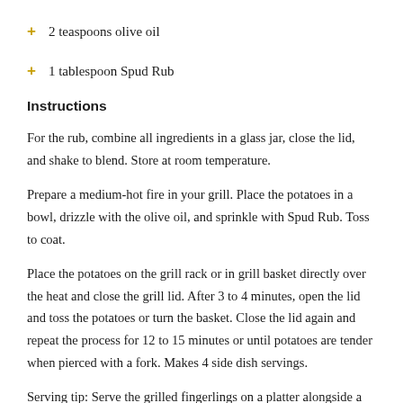2 teaspoons olive oil
1 tablespoon Spud Rub
Instructions
For the rub, combine all ingredients in a glass jar, close the lid, and shake to blend. Store at room temperature.
Prepare a medium-hot fire in your grill. Place the potatoes in a bowl, drizzle with the olive oil, and sprinkle with Spud Rub. Toss to coat.
Place the potatoes on the grill rack or in grill basket directly over the heat and close the grill lid. After 3 to 4 minutes, open the lid and toss the potatoes or turn the basket. Close the lid again and repeat the process for 12 to 15 minutes or until potatoes are tender when pierced with a fork. Makes 4 side dish servings.
Serving tip: Serve the grilled fingerlings on a platter alongside a bowl of Spud Rub Dip. To make Spud Rub Dip, combine ½ cup prepared